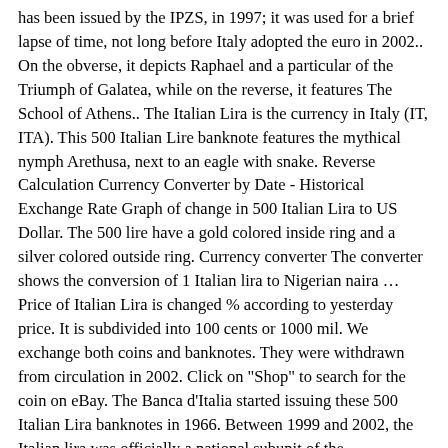has been issued by the IPZS, in 1997; it was used for a brief lapse of time, not long before Italy adopted the euro in 2002.. On the obverse, it depicts Raphael and a particular of the Triumph of Galatea, while on the reverse, it features The School of Athens.. The Italian Lira is the currency in Italy (IT, ITA). This 500 Italian Lire banknote features the mythical nymph Arethusa, next to an eagle with snake. Reverse Calculation Currency Converter by Date - Historical Exchange Rate Graph of change in 500 Italian Lira to US Dollar. The 500 lire have a gold colored inside ring and a silver colored outside ring. Currency converter The converter shows the conversion of 1 Italian lira to Nigerian naira … Price of Italian Lira is changed % according to yesterday price. It is subdivided into 100 cents or 1000 mil. We exchange both coins and banknotes. They were withdrawn from circulation in 2002. Click on "Shop" to search for the coin on eBay. The Banca d'Italia started issuing these 500 Italian Lira banknotes in 1966. Between 1999 and 2002, the Italian lira was officially a national subunit of the euro.However, cash payments could be made in lira … Italian 500 Lira Coin Pendant - 1982 to 2001 - Vintage Bimetal Repubblica Italiana Lire Italy NewYorkCufflinks. 2 1961 Silver Italy 500 Lire , 1 Silver Lira 1863, 110 coins total, +1/2 oz silv. Complete checkout and get paid within 5 days of receiving your currencies. How long does it take for my payment to come through? Post us your currency! It is the first bimetallic coin widely used in modern times and the first coin that featured braille. Italian Lira-Syrian Pound parity is an